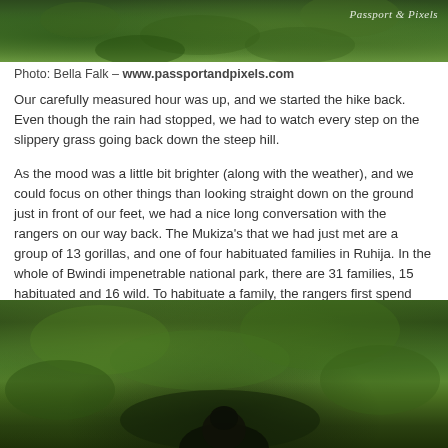[Figure (photo): Close-up photo of lush green forest vegetation with leaves and foliage. Watermark reads 'Passport & Pixels' in top right corner.]
Photo: Bella Falk – www.passportandpixels.com
Our carefully measured hour was up, and we started the hike back. Even though the rain had stopped, we had to watch every step on the slippery grass going back down the steep hill.
As the mood was a little bit brighter (along with the weather), and we could focus on other things than looking straight down on the ground just in front of our feet, we had a nice long conversation with the rangers on our way back. The Mukiza's that we had just met are a group of 13 gorillas, and one of four habituated families in Ruhija. In the whole of Bwindi impenetrable national park, there are 31 families, 15 habituated and 16 wild. To habituate a family, the rangers first spend just a little time with the gorillas every day, imitating their behavior and gradually making them used to having humans around. The whole process takes 2-3 years.
[Figure (photo): Photo of a lush green rainforest with dense tropical vegetation, ferns, and trees. A person wearing a hat is visible in the lower center of the frame among the greenery.]